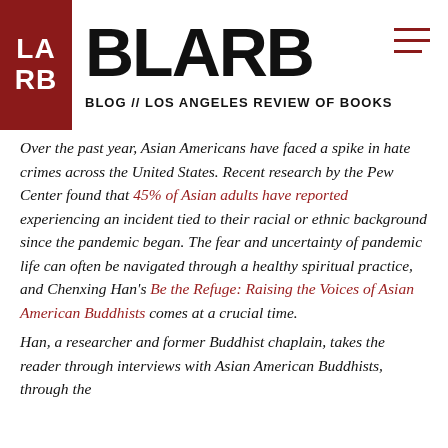BLARB — BLOG // LOS ANGELES REVIEW OF BOOKS
Over the past year, Asian Americans have faced a spike in hate crimes across the United States. Recent research by the Pew Center found that 45% of Asian adults have reported experiencing an incident tied to their racial or ethnic background since the pandemic began. The fear and uncertainty of pandemic life can often be navigated through a healthy spiritual practice, and Chenxing Han's Be the Refuge: Raising the Voices of Asian American Buddhists comes at a crucial time.
Han, a researcher and former Buddhist chaplain, takes the reader through interviews with Asian American Buddhists, through the...